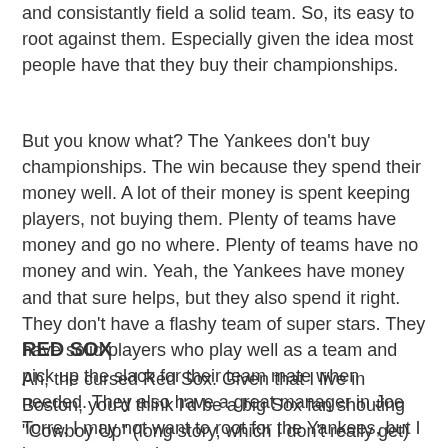and consistantly field a solid team. So, its easy to root against them. Especially given the idea most people have that they buy their championships.
But you know what? The Yankees don't buy championships. The win because they spend their money well. A lot of their money is spent keeping players, not buying them. Plenty of teams have money and go no where. Plenty of teams have no money and win. Yeah, the Yankees have money and that sure helps, but they also spend it right. They don't have a flashy team of super stars. They have solid players who play well as a team and pick up the slack for their team mate when needed. They also have a great manager in Joe Torre. I may not want to root for the Yankees, but I have to respect them.
RED SOX
Ah, the cursed Red Sox. Given that I live in Boston, you'd think I'd be a big Sox fan shouting "Cowboy Up" (long story, which I don't really get) at every opportunity. But no. Yeah, I know they are a hard luck story like the Cubs. But the Cubs fans were loyal through the lean years. The Red Sox never